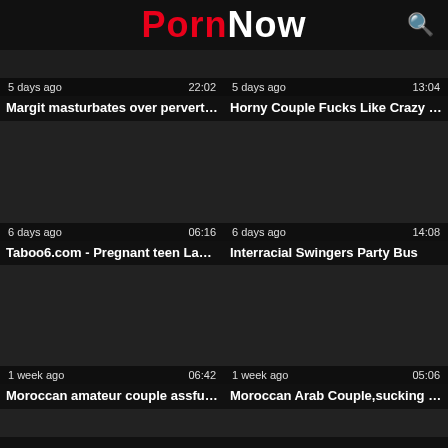PornNow
[Figure (screenshot): Video thumbnail 1 - partial top, 5 days ago, 22:02]
[Figure (screenshot): Video thumbnail 2 - partial top, 5 days ago, 13:04]
Margit masturbates over pervert Ul...
Horny Couple Fucks Like Crazy in ...
[Figure (screenshot): Video thumbnail 3 - 6 days ago, 06:16]
[Figure (screenshot): Video thumbnail 4 - 6 days ago, 14:08]
Taboo6.com - Pregnant teen Laney...
Interracial Swingers Party Bus
[Figure (screenshot): Video thumbnail 5 - 1 week ago, 06:42]
[Figure (screenshot): Video thumbnail 6 - 1 week ago, 05:06]
Moroccan amateur couple assfuck...
Moroccan Arab Couple,sucking di...
[Figure (screenshot): Video thumbnail 7 - partial bottom]
[Figure (screenshot): Video thumbnail 8 - partial bottom]